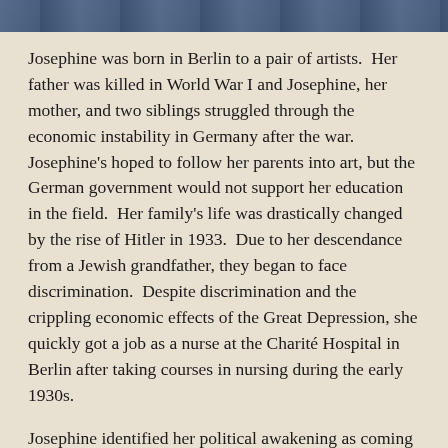[Figure (photo): Partial image strip at top of page showing a dark bluish photograph crop]
Josephine was born in Berlin to a pair of artists.  Her father was killed in World War I and Josephine, her mother, and two siblings struggled through the economic instability in Germany after the war.  Josephine's hoped to follow her parents into art, but the German government would not support her education in the field.  Her family's life was drastically changed by the rise of Hitler in 1933.  Due to her descendance from a Jewish grandfather, they began to face discrimination.  Despite discrimination and the crippling economic effects of the Great Depression, she quickly got a job as a nurse at the Charité Hospital in Berlin after taking courses in nursing during the early 1930s.
Josephine identified her political awakening as coming from a relationship she was in with a German doctor.  They traveled together to Lithuania in 1936 and were